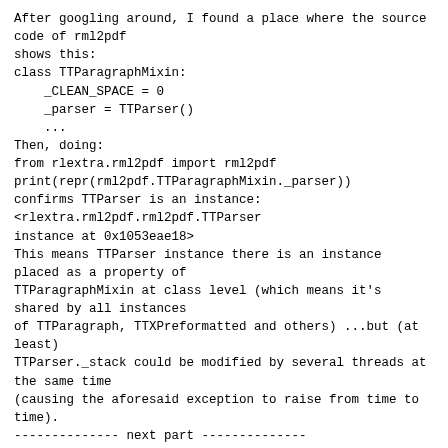After googling around, I found a place where the source code of rml2pdf
shows this:
class TTParagraphMixin:
    _CLEAN_SPACE = 0
    _parser = TTParser()
    ...
Then, doing:
from rlextra.rml2pdf import rml2pdf
print(repr(rml2pdf.TTParagraphMixin._parser))
confirms TTParser is an instance:
<rlextra.rml2pdf.rml2pdf.TTParser
instance at 0x1053eae18>
This means TTParser instance there is an instance placed as a property of
TTParagraphMixin at class level (which means it's shared by all instances
of TTParagraph, TTXPreformatted and others) ...but (at least)
TTParser._stack could be modified by several threads at the same time
(causing the aforesaid exception to raise from time to time).
-------------- next part --------------